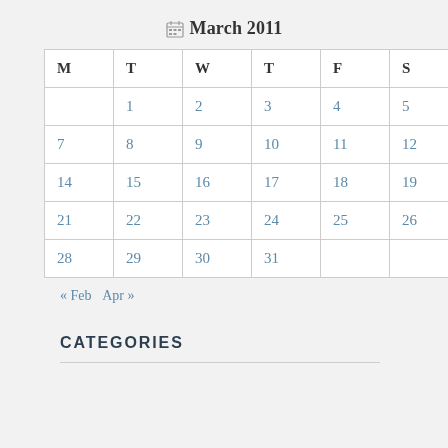March 2011
| M | T | W | T | F | S | S |
| --- | --- | --- | --- | --- | --- | --- |
|  | 1 | 2 | 3 | 4 | 5 | 6 |
| 7 | 8 | 9 | 10 | 11 | 12 | 13 |
| 14 | 15 | 16 | 17 | 18 | 19 | 20 |
| 21 | 22 | 23 | 24 | 25 | 26 | 27 |
| 28 | 29 | 30 | 31 |  |  |  |
« Feb   Apr »
CATEGORIES